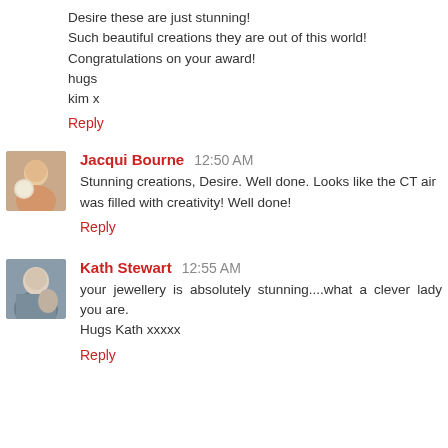Desire these are just stunning!
Such beautiful creations they are out of this world!
Congratulations on your award!
hugs
kim x
Reply
Jacqui Bourne  12:50 AM
Stunning creations, Desire. Well done. Looks like the CT air was filled with creativity! Well done!
Reply
Kath Stewart  12:55 AM
your jewellery is absolutely stunning....what a clever lady you are.
Hugs Kath xxxxx
Reply